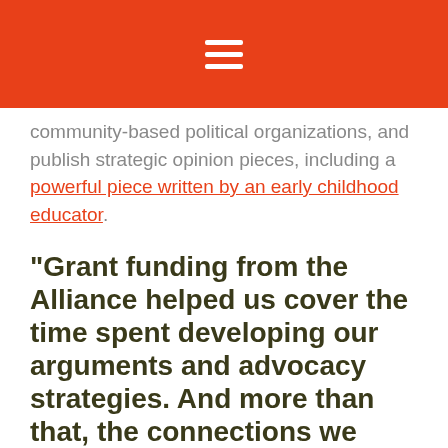☰
community-based political organizations, and publish strategic opinion pieces, including a powerful piece written by an early childhood educator.
“Grant funding from the Alliance helped us cover the time spent developing our arguments and advocacy strategies. And more than that, the connections we make through the Alliance